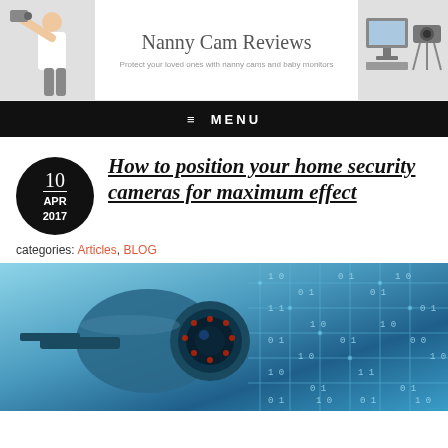Nanny Cam Reviews — Protect your loved ones with nanny cams and baby monitors
≡ MENU
How to position your home security cameras for maximum effect
categories: Articles, BLOG
[Figure (photo): Close-up of a security camera with digital binary code overlay on a circuit board background, blue-tinted]